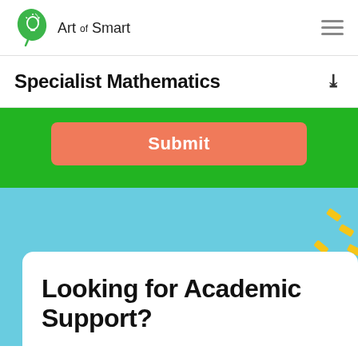[Figure (logo): Art of Smart logo — green leaf with lightbulb icon and text 'Art of Smart']
Specialist Mathematics
Submit
Looking for Academic Support?